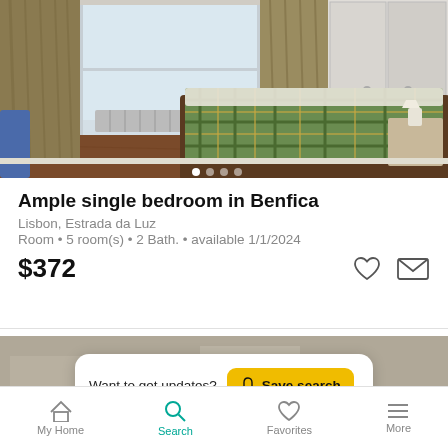[Figure (photo): Bedroom photo showing a bed with green plaid bedding, wooden floor, curtains, and a nightstand with a lamp]
Ample single bedroom in Benfica
Lisbon, Estrada da Luz
Room • 5 room(s) • 2 Bath. • available 1/1/2024
$372
[Figure (photo): Second listing photo partially visible, with a Save search banner overlay]
Want to get updates? Save search
My Home  Search  Favorites  More